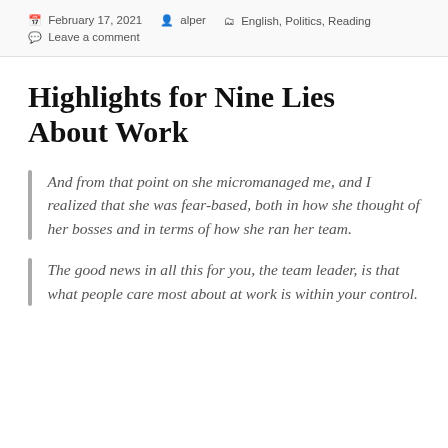February 17, 2021  alper  English, Politics, Reading  Leave a comment
Highlights for Nine Lies About Work
And from that point on she micromanaged me, and I realized that she was fear-based, both in how she thought of her bosses and in terms of how she ran her team.
The good news in all this for you, the team leader, is that what people care most about at work is within your control.